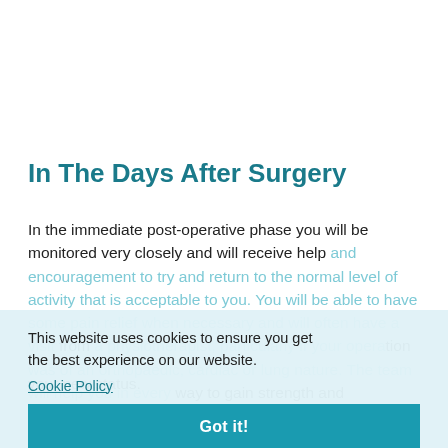In The Days After Surgery
In the immediate post-operative phase you will be monitored very closely and will receive help and encouragement to try and return to the normal level of activity that is acceptable to you. You will be able to have some pain relief when necessary and will often have a visit from a physiotherapist, particularly if your operation was of an orthopaedic, cardiac or lung nature. The team will help you in every way to gain strength and confidence and adjust to your new status.